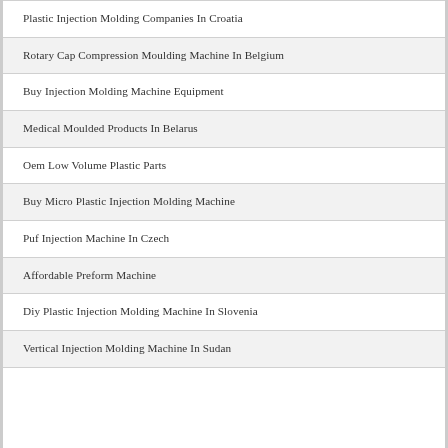Plastic Injection Molding Companies In Croatia
Rotary Cap Compression Moulding Machine In Belgium
Buy Injection Molding Machine Equipment
Medical Moulded Products In Belarus
Oem Low Volume Plastic Parts
Buy Micro Plastic Injection Molding Machine
Puf Injection Machine In Czech
Affordable Preform Machine
Diy Plastic Injection Molding Machine In Slovenia
Vertical Injection Molding Machine In Sudan